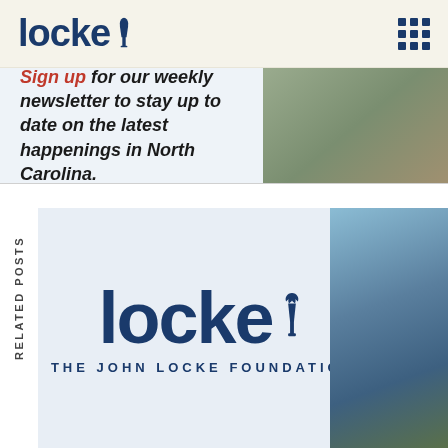locke (logo with torch icon) — navigation menu dots
[Figure (photo): Close-up photo of person's hands, wearing green hoodie, possibly elderly person seated]
Sign up for our weekly newsletter to stay up to date on the latest happenings in North Carolina.
RELATED POSTS
[Figure (logo): The John Locke Foundation logo — large 'locke' text with torch icon above, subtitle 'THE JOHN LOCKE FOUNDATION']
[Figure (photo): Coastal or waterfront scene with blue sky and historic building or fort structure near water]